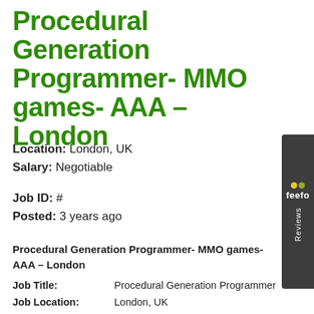Procedural Generation Programmer- MMO games- AAA – London
Location: London, UK
Salary: Negotiable
Job ID: #
Posted: 3 years ago
Procedural Generation Programmer- MMO games- AAA – London
| Field | Value |
| --- | --- |
| Job Title: | Procedural Generation Programmer |
| Job Location: | London, UK |
| Job Type: | Permanent |